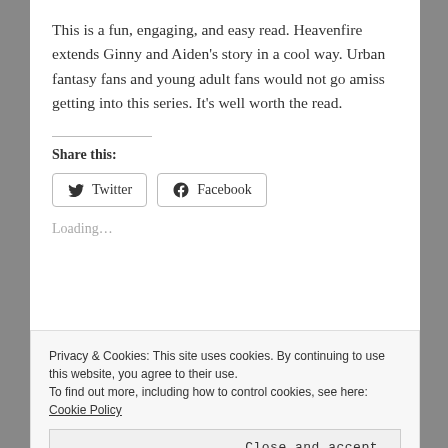This is a fun, engaging, and easy read. Heavenfire extends Ginny and Aiden’s story in a cool way. Urban fantasy fans and young adult fans would not go amiss getting into this series. It’s well worth the read.
Share this:
Twitter
Facebook
Loading…
Privacy & Cookies: This site uses cookies. By continuing to use this website, you agree to their use. To find out more, including how to control cookies, see here: Cookie Policy
Close and accept
In "Book Reviews"
In "Book Reviews"